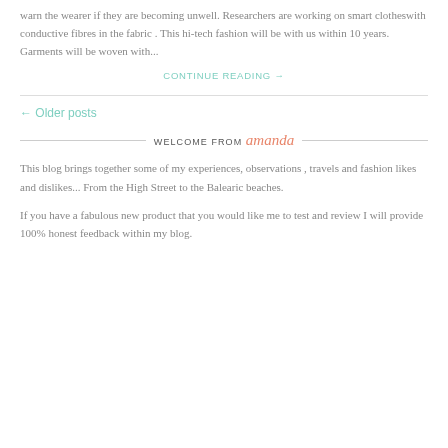warn the wearer if they are becoming unwell. Researchers are working on smart clotheswith conductive fibres in the fabric . This hi-tech fashion will be with us within 10 years. Garments will be woven with...
CONTINUE READING →
← Older posts
WELCOME FROM amanda
This blog brings together some of my experiences, observations , travels and fashion likes and dislikes... From the High Street to the Balearic beaches.
If you have a fabulous new product that you would like me to test and review I will provide 100% honest feedback within my blog.